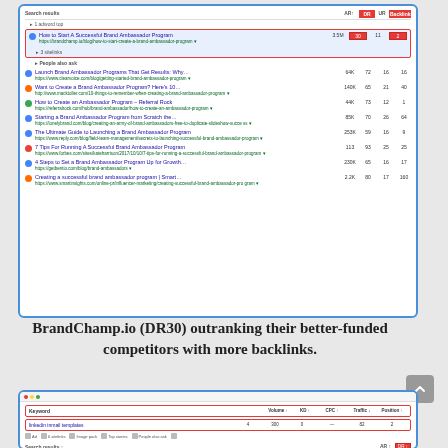[Figure (screenshot): Screenshot of search results page showing SERP for brand ambassador program queries, with columns AR, DR, UR, Backlinks. BrandChamp.io result highlighted with DR30 and Backlinks=2, outranking competitors with higher DR and more backlinks.]
BrandChamp.io (DR30) outranking their better-funded competitors with more backlinks.
[Figure (screenshot): Screenshot of keyword research tool showing 'linkedin inmail templates' keyword with Volume 4, KD 300, CPC blank, Traffic 82, Position 2. Table headers highlighted with red border. Bottom shows SERP features: Ad, 6 sitelinks, Image pack, Top stories, People also ask. Search results header visible with DR column highlighted.]